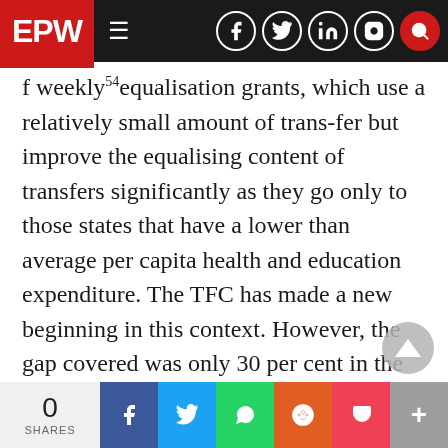EPW — navigation bar with social icons
f weekly54equalisation grants, which use a relatively small amount of trans-fer but improve the equalising content of transfers significantly as they go only to those states that have a lower than average per capita health and education expenditure. The TFC has made a new beginning in this context. However, the gap covered was only 30 per cent in the case of health and 15 per cent in the case of education. These ratios will have to be increased to a larger extent to achieve full equalisation. Several qualifications may be noted in respect of the above comparisons. First, the equalisation benchmark is calculated with a
0 SHARES | Share buttons: Facebook, Twitter, WhatsApp, Reddit, Pocket, More